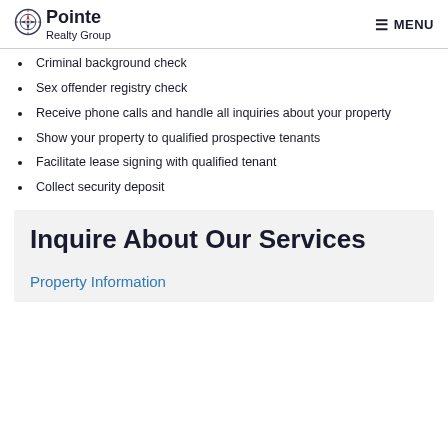Pointe Realty Group | MENU
Criminal background check
Sex offender registry check
Receive phone calls and handle all inquiries about your property
Show your property to qualified prospective tenants
Facilitate lease signing with qualified tenant
Collect security deposit
Inquire About Our Services
Property Information